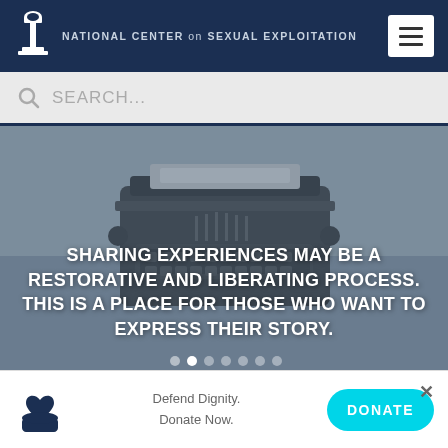NATIONAL CENTER ON SEXUAL EXPLOITATION
SEARCH...
[Figure (photo): Grayscale photo of a vintage typewriter with overlay text: SHARING EXPERIENCES MAY BE A RESTORATIVE AND LIBERATING PROCESS. THIS IS A PLACE FOR THOSE WHO WANT TO EXPRESS THEIR STORY.]
Defend Dignity. Donate Now.
DONATE